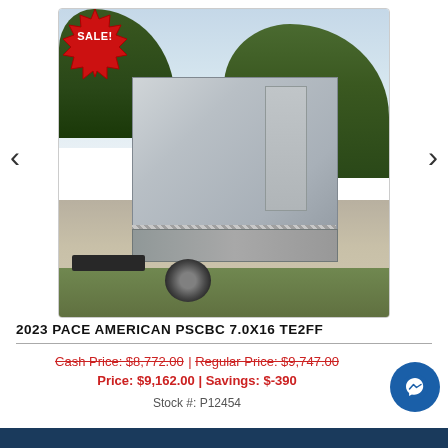[Figure (photo): Silver/aluminum enclosed cargo trailer (2023 Pace American PSCBC 7.0x16 TE2FF) parked on sandy ground with trees in background. A red 'SALE!' starburst badge is in the top-left corner of the image.]
2023 PACE AMERICAN PSCBC 7.0X16 TE2FF
Cash Price: $8,772.00 | Regular Price: $9,747.00 | Price: $9,162.00 | Savings: $-390
Stock #: P12454